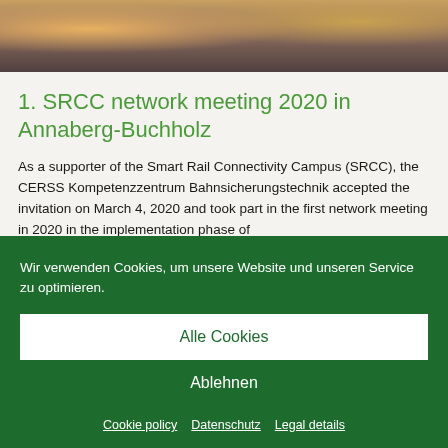[Figure (photo): Banner photo showing people at a meeting/conference setting, partially visible at the top of the page]
1. SRCC network meeting 2020 in Annaberg-Buchholz
As a supporter of the Smart Rail Connectivity Campus (SRCC), the CERSS Kompetenzzentrum Bahnsicherungstechnik accepted the invitation on March 4, 2020 and took part in the first network meeting in 2020 in the implementation phase of
Wir verwenden Cookies, um unsere Website und unseren Service zu optimieren.
Alle Cookies
Ablehnen
Cookie policy  Datenschutz  Legal details